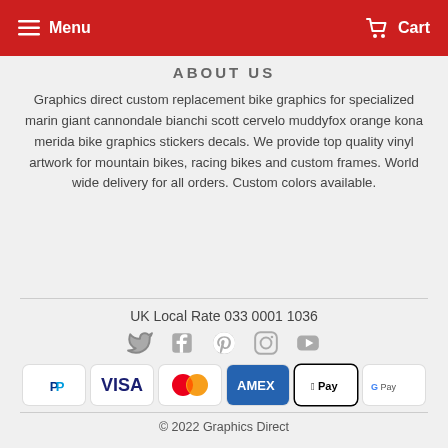Menu  Cart
ABOUT US
Graphics direct custom replacement bike graphics for specialized marin giant cannondale bianchi scott cervelo muddyfox orange kona merida bike graphics stickers decals. We provide top quality vinyl artwork for mountain bikes, racing bikes and custom frames. World wide delivery for all orders. Custom colors available.
UK Local Rate 033 0001 1036
[Figure (infographic): Social media icons: Twitter, Facebook, Pinterest, Instagram, YouTube]
[Figure (infographic): Payment method icons: PayPal, Visa, Mastercard, American Express, Apple Pay, Google Pay]
© 2022 Graphics Direct